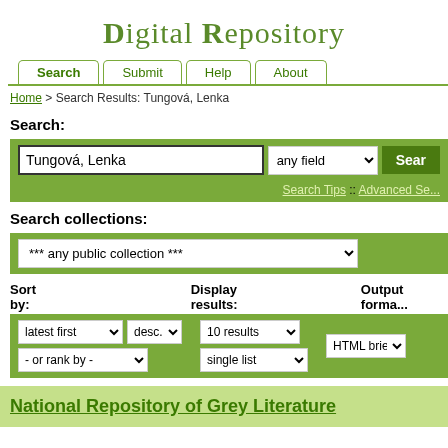Digital Repository
Search | Submit | Help | About
Home > Search Results: Tungová, Lenka
Search:
Tungová, Lenka [input field] any field [dropdown] Search
Search Tips :: Advanced Se...
Search collections:
*** any public collection ***
Sort by:
latest first | desc. | - or rank by -
Display results:
10 results | single list
Output forma...
HTML brief
National Repository of Grey Literature